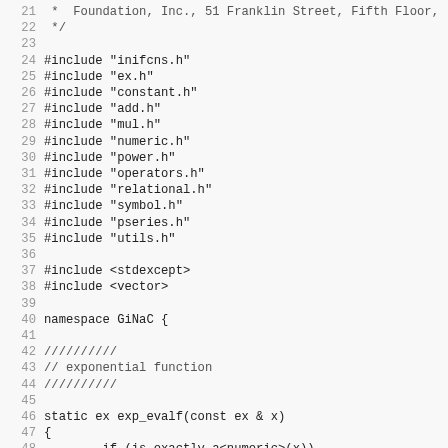Source code listing lines 21-52 from a C++ GiNaC library file (inifcns.cpp). Shows includes and beginning of exponential function implementation.